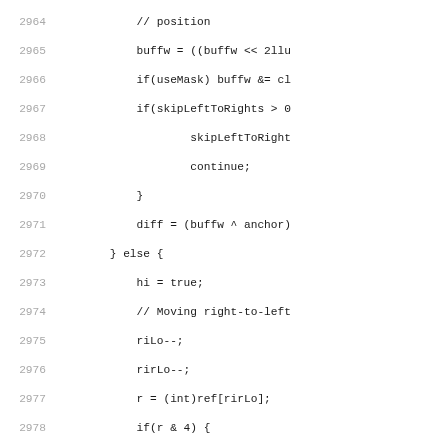[Figure (screenshot): Source code listing with line numbers 2964-2995, showing C++ code with conditional logic for buffer manipulation, including comments about position, useMask, skipLeftToRights, hi flag, Moving right-to-left logic, riLo--, ririLo--, ref array access, skipRightToLeft, assert_lt, bufbw operations, skipRightToLefts, and diff calculations.]